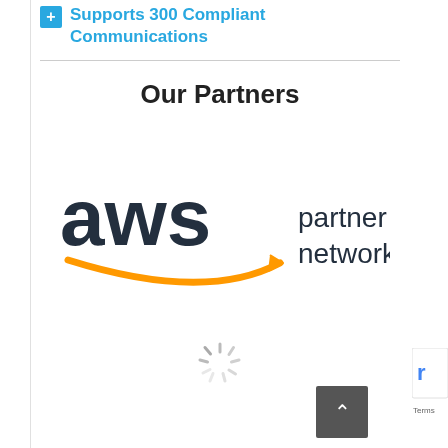Supports 300 Compliant Communications
Our Partners
[Figure (logo): AWS Partner Network logo — 'aws' in dark navy large letters with orange smile/arrow beneath, 'partner network' in dark navy to the right]
[Figure (other): Loading spinner (circular dashed spinner icon)]